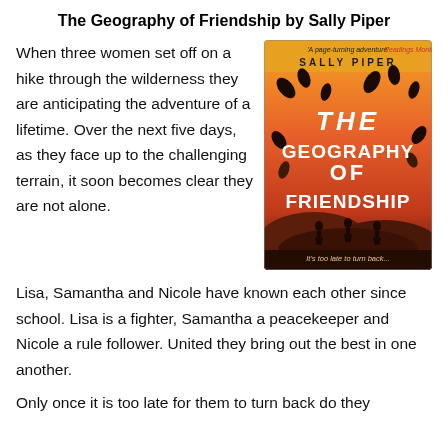The Geography of Friendship by Sally Piper
When three women set off on a hike through the wilderness they are anticipating the adventure of a lifetime. Over the next five days, as they face up to the challenging terrain, it soon becomes clear they are not alone.
[Figure (illustration): Book cover of 'The Geography of Friendship' by Sally Piper. Orange and red gradient background with black leaf silhouettes. White stylized title text. Three human silhouettes on a hill at the bottom. Text at top reads 'A page-turning adventure' Readings Monthly. Text at bottom reads 'It's too late to turn back...']
Lisa, Samantha and Nicole have known each other since school. Lisa is a fighter, Samantha a peacekeeper and Nicole a rule follower. United they bring out the best in one another.
Only once it is too late for them to turn back do they